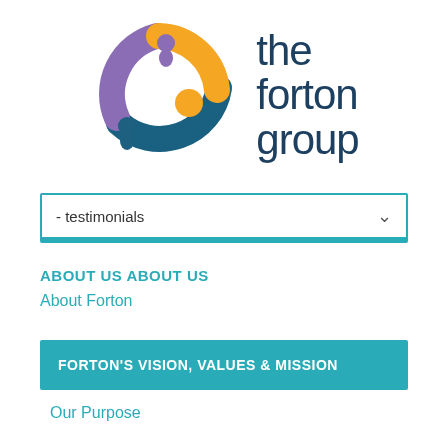[Figure (logo): The Forton Group logo: circular icon with three figures in purple, orange, and teal, alongside the text 'the forton group' in dark teal.]
- testimonials
ABOUT US ABOUT US
About Forton
FORTON'S VISION, VALUES & MISSION
Our Purpose